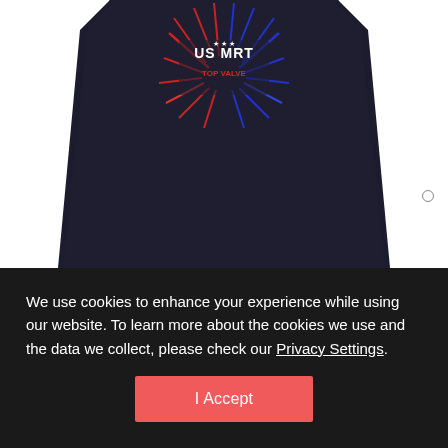[Figure (photo): Black t-shirt with a graphic design showing text and spiky/lightning bolt elements in red, white, and blue colors on the upper chest area. The shirt has a curved hem at the bottom.]
We use cookies to enhance your experience while using our website. To learn more about the cookies we use and the data we collect, please check our Privacy Settings.
I Accept